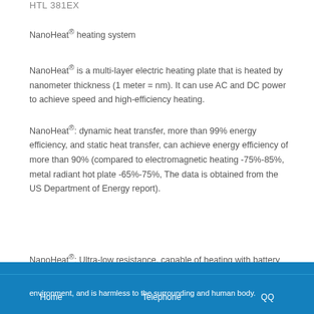HTL 381EX
NanoHeat® heating system
NanoHeat® is a multi-layer electric heating plate that is heated by nanometer thickness (1 meter = nm). It can use AC and DC power to achieve speed and high-efficiency heating.
NanoHeat®: dynamic heat transfer, more than 99% energy efficiency, and static heat transfer, can achieve energy efficiency of more than 90% (compared to electromagnetic heating -75%-85%, metal radiant hot plate -65%-75%, The data is obtained from the US Department of Energy report).
NanoHeat®: Ultra-low resistance, capable of heating with battery and DC power, solar energy can be used with renewable energy.
18922873228
environment, and is harmless to the surrounding and human body.
Home    Telephone    QQ